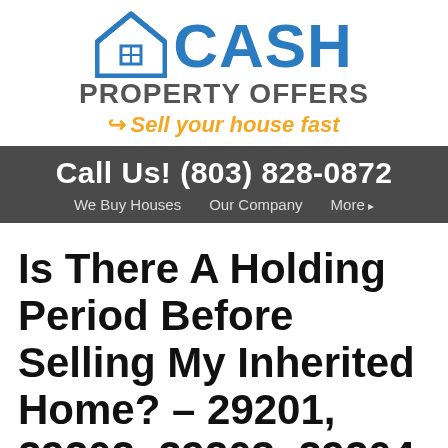[Figure (logo): Cash Property Offers logo with blue house icon, blue CASH text, gray PROPERTY OFFERS text, and orange arrow tagline 'Sell your house fast']
Call Us! (803) 828-0872
We Buy Houses   Our Company   More
Is There A Holding Period Before Selling My Inherited Home? – 29201, 29202, 29203, 29204, 29205, 29206,